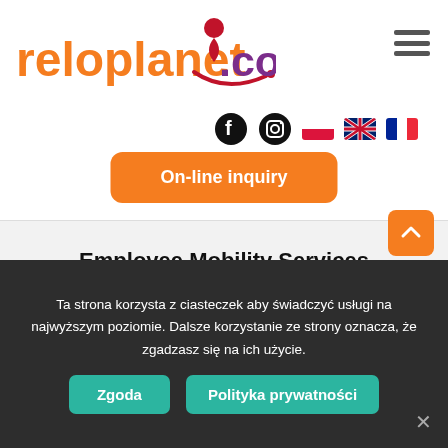[Figure (logo): reloplanet.com logo with red location pin and swoosh]
[Figure (infographic): Hamburger menu icon (three horizontal lines)]
[Figure (infographic): Social media icons: Facebook, Instagram, Polish flag, UK flag, French flag]
[Figure (other): On-line inquiry orange button]
Employee Mobility Services
Relocation can be stressful, especially when it comes to relocating.
[Figure (infographic): Scroll up orange button with upward chevron]
Ta strona korzysta z ciasteczek aby świadczyć usługi na najwyższym poziomie. Dalsze korzystanie ze strony oznacza, że zgadzasz się na ich użycie.
[Figure (other): Zgoda button (teal/green)]
[Figure (other): Polityka prywatności button (teal/green)]